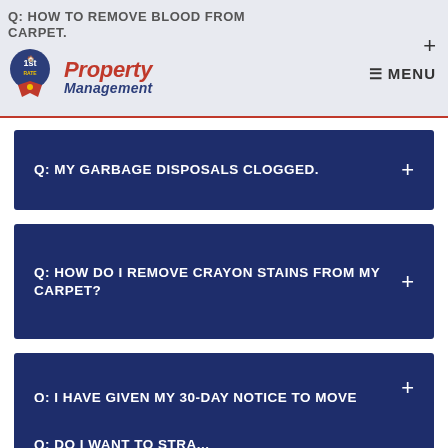Q: HOW TO REMOVE BLOOD FROM CARPET. | 1st Rate Property Management | MENU
Q: MY GARBAGE DISPOSALS CLOGGED.
Q: HOW DO I REMOVE CRAYON STAINS FROM MY CARPET?
Q: I HAVE GIVEN MY 30-DAY NOTICE TO MOVE OUT, BUT I NEED TO RETRACT MY 30-DAY NOTICE. WHAT AM I SUPPOSED TO DO?
Q: DO I WANT TO STRA...